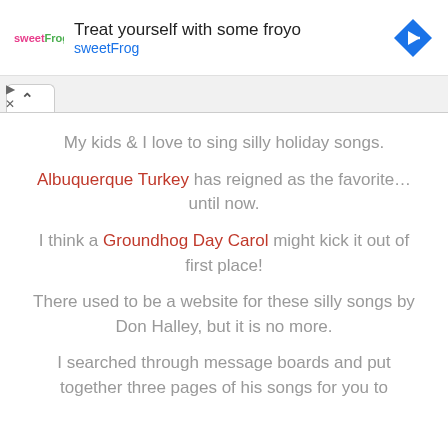[Figure (screenshot): SweetFrog advertisement banner with logo, text 'Treat yourself with some froyo' and 'sweetFrog', and a blue navigation arrow icon on the right]
My kids & I love to sing silly holiday songs.
Albuquerque Turkey has reigned as the favorite... until now.
I think a Groundhog Day Carol might kick it out of first place!
There used to be a website for these silly songs by Don Halley, but it is no more.
I searched through message boards and put together three pages of his songs for you to